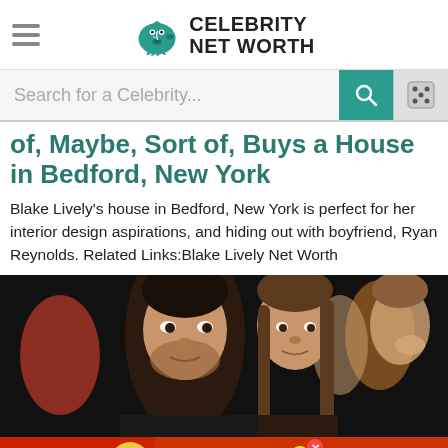Celebrity Net Worth
[Figure (screenshot): Search bar with teal search button and dice/random button]
of, Maybe, Sort of, Buys a House in Bedford, New York
Blake Lively's house in Bedford, New York is perfect for her interior design aspirations, and hiding out with boyfriend, Ryan Reynolds. Related Links:Blake Lively Net Worth
[Figure (photo): Photo of a man and woman at a formal event, crowd in background]
[Figure (other): BitLife advertisement banner: FAIL START A NEW LIFE]